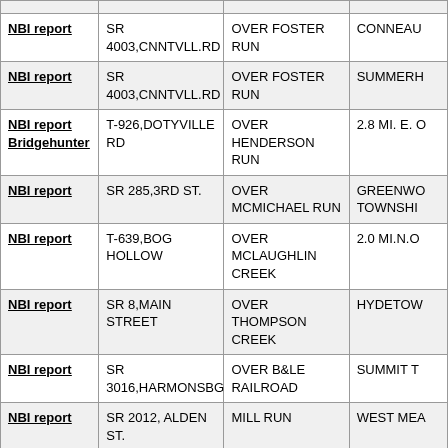|  |  |  |  |
| --- | --- | --- | --- |
| NBI report | SR 4003,CNNTVLL.RD | OVER FOSTER RUN | CONNEAU |
| NBI report | SR 4003,CNNTVLL.RD | OVER FOSTER RUN | SUMMERH |
| NBI report Bridgehunter | T-926,DOTYVILLE RD | OVER HENDERSON RUN | 2.8 MI. E. O |
| NBI report | SR 285,3RD ST. | OVER MCMICHAEL RUN | GREENWO TOWNSHI |
| NBI report | T-639,BOG HOLLOW | OVER MCLAUGHLIN CREEK | 2.0 MI.N.O |
| NBI report | SR 8,MAIN STREET | OVER THOMPSON CREEK | HYDETOW |
| NBI report | SR 3016,HARMONSBG | OVER B&LE RAILROAD | SUMMIT T |
| NBI report | SR 2012, ALDEN ST. | MILL RUN | WEST MEA |
| NBI report | SR 27,CENTRAL AV | OVER OIL CREEK | CITY OF T |